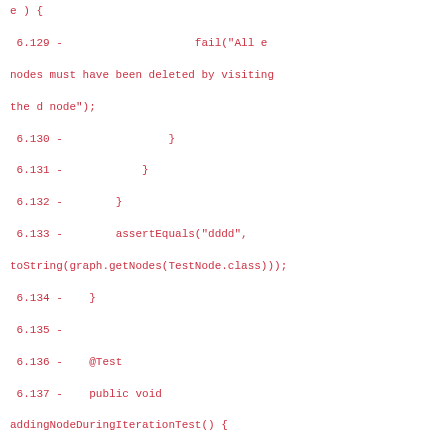Code diff showing deleted lines 6.129–6.146 in a Java test file, including fail message, assertEquals, @Test annotation, addingNodeDuringIterationTest method with Graph, TestNode, StringBuilder, int z, for loop, if block, and sb.append.